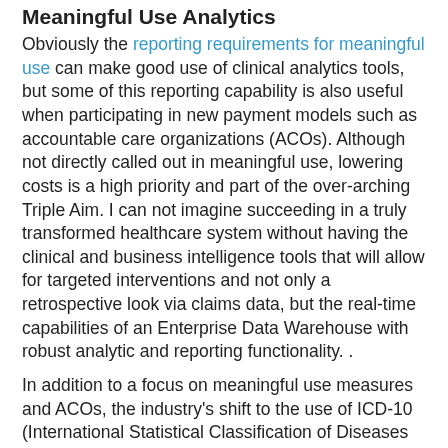Meaningful Use Analytics
Obviously the reporting requirements for meaningful use can make good use of clinical analytics tools, but some of this reporting capability is also useful when participating in new payment models such as accountable care organizations (ACOs). Although not directly called out in meaningful use, lowering costs is a high priority and part of the over-arching Triple Aim. I can not imagine succeeding in a truly transformed healthcare system without having the clinical and business intelligence tools that will allow for targeted interventions and not only a retrospective look via claims data, but the real-time capabilities of an Enterprise Data Warehouse with robust analytic and reporting functionality. .
In addition to a focus on meaningful use measures and ACOs, the industry's shift to the use of ICD-10 (International Statistical Classification of Diseases and Related Health Problems-10th revision), mandated for the coding of all inpatient and outpatient claims beginning in October 2014, will also impact the use of clinical analytics. Conversion to the ICD-10 coding will dramatically increase the specificity and granularity, and therefore the value, of diagnostic data. Everything that was previously one or two diagnostic codes...